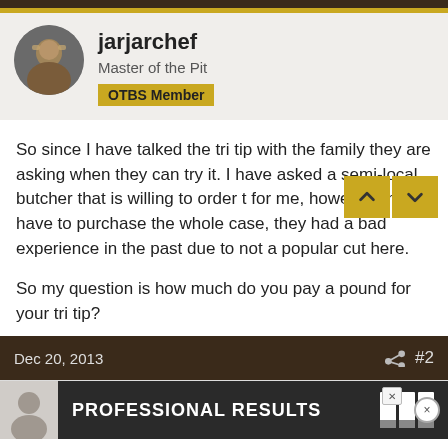jarjarchef | Master of the Pit | OTBS Member
So since I have talked the tri tip with the family they are asking when they can try it. I have asked a semi-local butcher that is willing to order t for me, however I may have to purchase the whole case, they had a bad experience in the past due to not a popular cut here.

So my question is how much do you pay a pound for your tri tip?
Dec 20, 2013  #2
PROFESSIONAL RESULTS  DCS